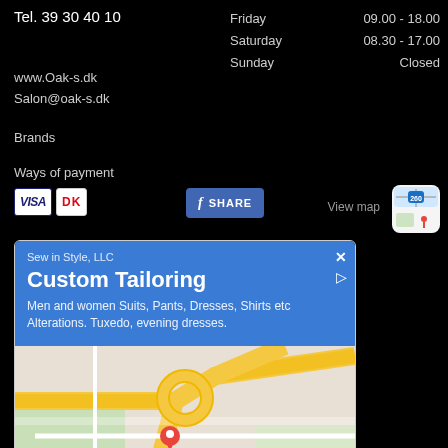Tel. 39 30 40 10
Friday
Saturday
Sunday
09.00 - 18.00
08.30 - 17.00
Closed
www.Oak-s.dk
Salon@oak-s.dk
Brands
Ways of payment
[Figure (screenshot): Payment icons: VISA and DK (Dankort), Facebook Share button, View map link with map app icon]
[Figure (screenshot): Ad for Sew in Style, LLC — Custom Tailoring. Shows a Google Maps style ad with map, Call and Directions buttons.]